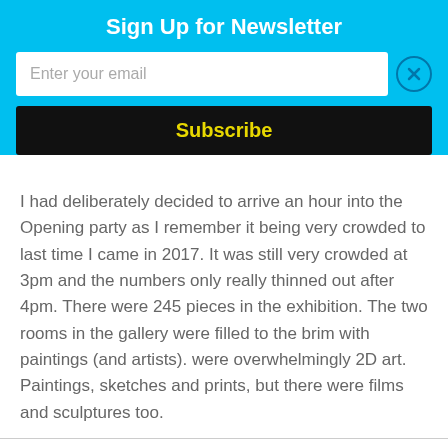Sign Up for Newsletter
Enter your email
Subscribe
I had deliberately decided to arrive an hour into the Opening party as I remember it being very crowded to last time I came in 2017. It was still very crowded at 3pm and the numbers only really thinned out after 4pm. There were 245 pieces in the exhibition. The two rooms in the gallery were filled to the brim with paintings (and artists). were overwhelmingly 2D art. Paintings, sketches and prints, but there were films and sculptures too.
[Figure (infographic): Bottom navigation bar with three icons: a person/user icon, a search/magnifying glass icon, and a shopping basket icon with a badge showing the number 0.]